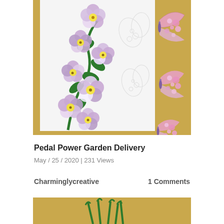[Figure (photo): Craft project showing purple and yellow pansy-like flowers on a green vine stem on white card, with pink glitter butterfly die-cuts on a golden/tan background]
Pedal Power Garden Delivery
May / 25 / 2020 | 231 Views
Charminglycreative
1 Comments
[Figure (photo): Partial view of another craft project on golden/tan background with green plant stems visible at bottom]